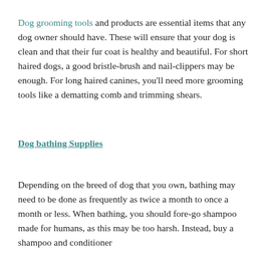Dog grooming tools and products are essential items that any dog owner should have. These will ensure that your dog is clean and that their fur coat is healthy and beautiful. For short haired dogs, a good bristle-brush and nail-clippers may be enough. For long haired canines, you'll need more grooming tools like a dematting comb and trimming shears.
Dog bathing Supplies
Depending on the breed of dog that you own, bathing may need to be done as frequently as twice a month to once a month or less. When bathing, you should fore-go shampoo made for humans, as this may be too harsh. Instead, buy a shampoo and conditioner designed to specifically for your dog's coat and skin.